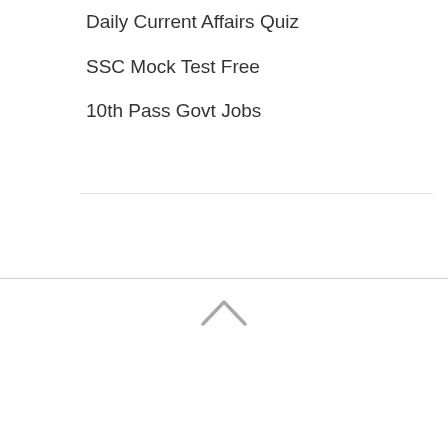Daily Current Affairs Quiz
SSC Mock Test Free
10th Pass Govt Jobs
[Figure (illustration): Upward chevron / caret icon in gray, indicating scroll to top or collapse action]